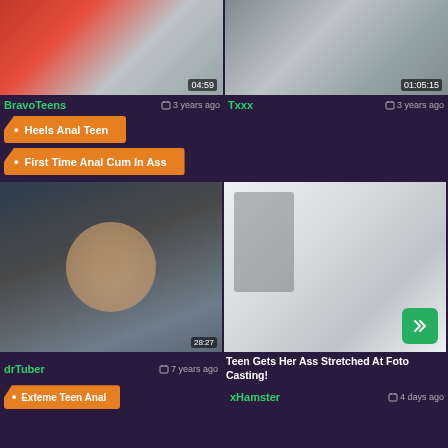[Figure (screenshot): Two video thumbnails side by side showing adult content. Left thumbnail has duration 04:59, right thumbnail has duration 01:05:15]
BravoTeens   3 years ago
Txxx   3 years ago
Heels Anal Teen
First Time Anal Cum In Ass
[Figure (screenshot): Two video thumbnails side by side. Left shows two people close together. Right shows a photo studio scene with a model and photographer.]
drTuber   7 years ago
Teen Gets Her Ass Stretched At Foto Casting!
xHamster   4 days ago
Exteme Teen Anal